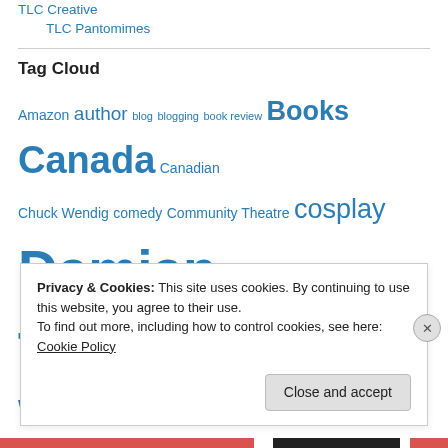TLC Creative
TLC Pantomimes
Tag Cloud
Amazon author blog blogging book review Books Canada Canadian Chuck Wendig comedy Community Theatre cosplay Damian Trasler David Lovesy Dim Disney Doctor Who e-book e-publishing ebook e-books ebooks Eldest Weasel emigrating emigration
Privacy & Cookies: This site uses cookies. By continuing to use this website, you agree to their use. To find out more, including how to control cookies, see here: Cookie Policy
Close and accept